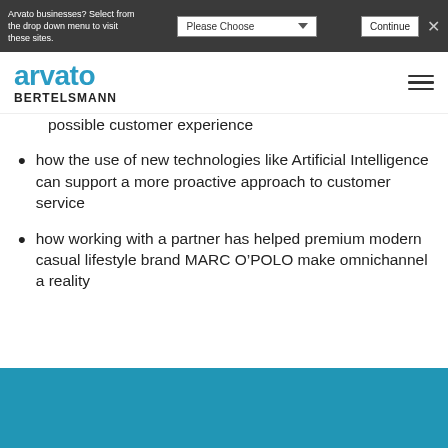Arvato businesses? Select from the drop down menu to visit these sites.
[Figure (logo): Arvato Bertelsmann logo with blue arvato text and black BERTELSMANN text below]
how to create a single view of the customer, using technology, processes and people in order to provide the best possible customer experience
how the use of new technologies like Artificial Intelligence can support a more proactive approach to customer service
how working with a partner has helped premium modern casual lifestyle brand MARC O’POLO make omnichannel a reality
[Figure (illustration): Solid teal/blue rectangle section at the bottom of the page]